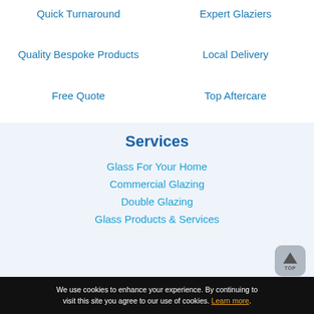Quick Turnaround
Expert Glaziers
Quality Bespoke Products
Local Delivery
Free Quote
Top Aftercare
Services
Glass For Your Home
Commercial Glazing
Double Glazing
Glass Products & Services
We use cookies to enhance your experience. By continuing to visit this site you agree to our use of cookies. Learn more.